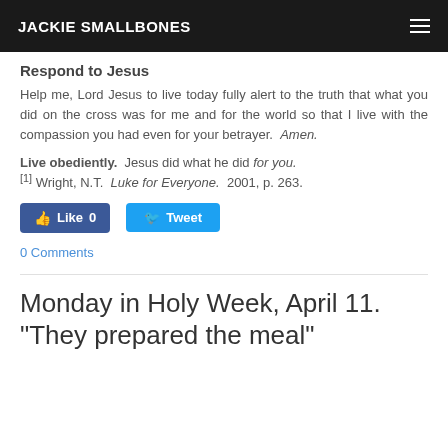JACKIE SMALLBONES
Respond to Jesus
Help me, Lord Jesus to live today fully alert to the truth that what you did on the cross was for me and for the world so that I live with the compassion you had even for your betrayer. Amen.
Live obediently. Jesus did what he did for you.
[1] Wright, N.T. Luke for Everyone. 2001, p. 263.
Like 0   Tweet
0 Comments
Monday in Holy Week, April 11. “They prepared the meal”